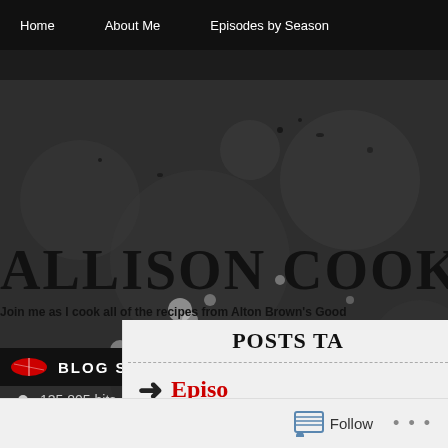Home   About Me   Episodes by Season
ALLISON COOKS A
Join me as I cook all of the recipes from Alton Brown's Good
POSTS TA
[Figure (logo): Red oval frisbee-like logo icon for Blog Stats widget]
BLOG STATS
135,805 hits
Episo
Posted: Octob
Follow   ...